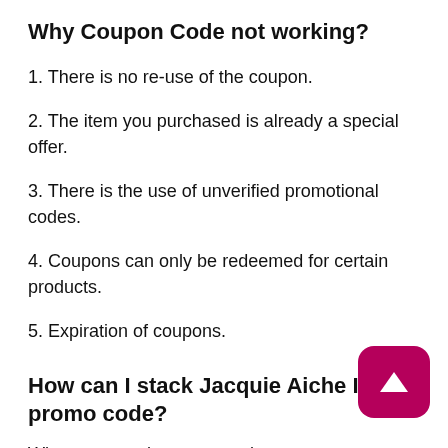Why Coupon Code not working?
1. There is no re-use of the coupon.
2. The item you purchased is already a special offer.
3. There is the use of unverified promotional codes.
4. Coupons can only be redeemed for certain products.
5. Expiration of coupons.
How can I stack Jacquie Aiche Inc promo code?
When you stack coupon codes, you can use multiple coupons to receive a discount on the same product at checkout.The premise of stacking coupon combination of store coupons and manufacturer coupons. When you buy only products from the store or manufacturer, you cannot receive the